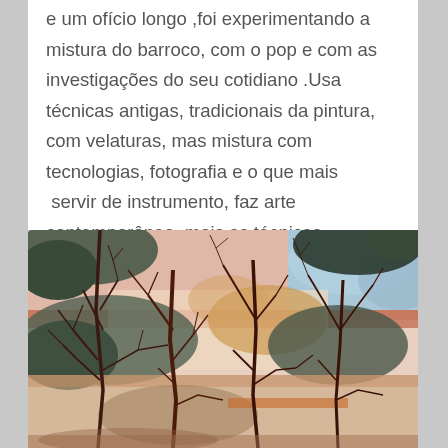e um ofício longo ,foi experimentando a mistura do barroco, com o pop e com as investigações do seu cotidiano .Usa técnicas antigas, tradicionais da pintura, com velaturas, mas mistura com tecnologias, fotografia e o que mais  servir de instrumento, faz arte contemporânea, mais as técnicas aprendidas na academia lhe são muito úteis.
[Figure (illustration): Abstract painting depicting bare tree branches silhouetted against a colorful landscape background with greens, blues, oranges, pinks, and earth tones, in a mixed-media style.]